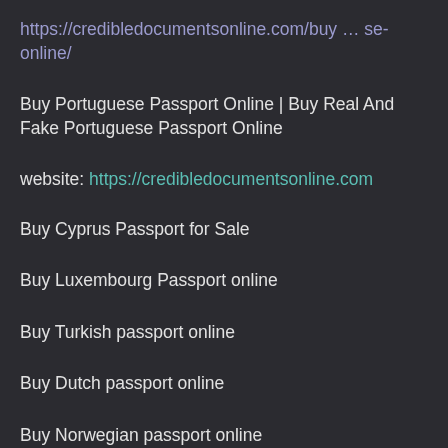https://credibledocumentsonline.com/buy … se-online/
Buy Portuguese Passport Online | Buy Real And Fake Portuguese Passport Online
website: https://credibledocumentsonline.com
Buy Cyprus Passport for Sale
Buy Luxembourg Passport online
Buy Turkish passport online
Buy Dutch passport online
Buy Norwegian passport online
Buy Poland Passport online
Buy Romania Passport online